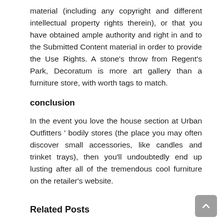material (including any copyright and different intellectual property rights therein), or that you have obtained ample authority and right in and to the Submitted Content material in order to provide the Use Rights. A stone's throw from Regent's Park, Decoratum is more art gallery than a furniture store, with worth tags to match.
conclusion
In the event you love the house section at Urban Outfitters ' bodily stores (the place you may often discover small accessories, like candles and trinket trays), then you'll undoubtedly end up lusting after all of the tremendous cool furniture on the retailer's website.
Related Posts